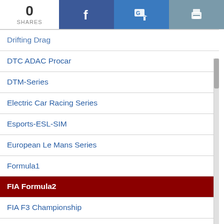0 SHARES
Drifting Drag
DTC ADAC Procar
DTM-Series
Electric Car Racing Series
Esports-ESL-SIM
European Le Mans Series
Formula1
FIA Formula2
FIA F3 Championship
F3 Championships
Formula 4
ABB FIA Formula E
FIA WEC
FIA-WTCR
Formula Master
Formula Renault 1.6
Formula Renault / Regional